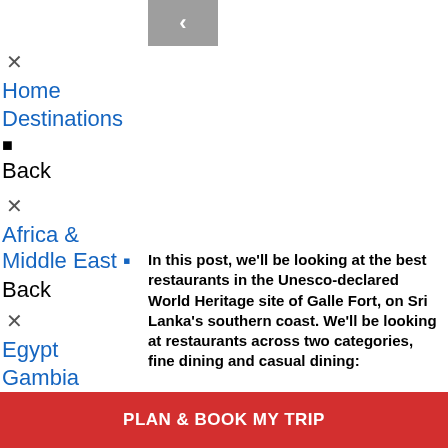[Figure (screenshot): Grey thumbnail image with a left arrow navigation button]
✕
Home
Destinations
🔲
Back
✕
Africa & Middle East 🔲
Back
✕
Egypt
Gambia
Israel
Jordan
In this post, we'll be looking at the best restaurants in the Unesco-declared World Heritage site of Galle Fort, on Sri Lanka's southern coast. We'll be looking at restaurants across two categories, fine dining and casual dining:
PLAN & BOOK MY TRIP